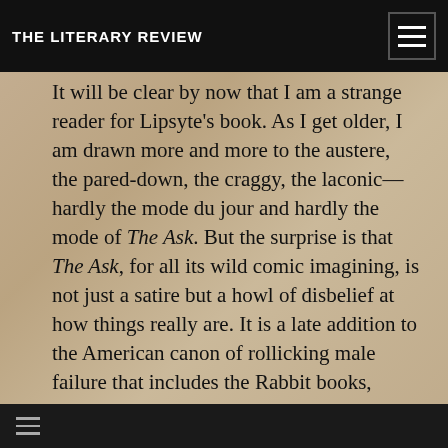THE LITERARY REVIEW
It will be clear by now that I am a strange reader for Lipsyte's book. As I get older, I am drawn more and more to the austere, the pared-down, the craggy, the laconic—hardly the mode du jour and hardly the mode of The Ask. But the surprise is that The Ask, for all its wild comic imagining, is not just a satire but a howl of disbelief at how things really are. It is a late addition to the American canon of rollicking male failure that includes the Rabbit books, Richard Ford's Independence Day and David Gates's wonderful Jernigan and Preston Falls. What's new here is how low things already are at the beginning